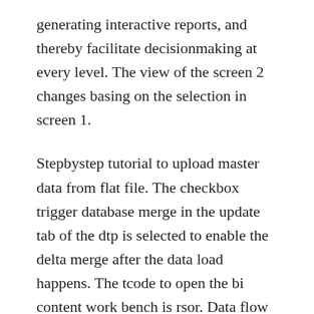generating interactive reports, and thereby facilitate decisionmaking at every level. The view of the screen 2 changes basing on the selection in screen 1.
Stepbystep tutorial to upload master data from flat file. The checkbox trigger database merge in the update tab of the dtp is selected to enable the delta merge after the data load happens. The tcode to open the bi content work bench is rsor. Data flow in data acquisition involves transformation, info package for loading to psa, and data transfer